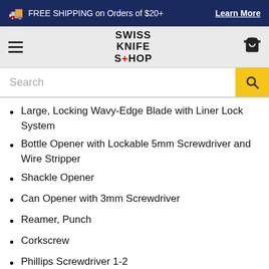🚚 FREE SHIPPING on Orders of $20+ Learn More
[Figure (logo): Swiss Knife Shop logo with hamburger menu and cart icon in navigation bar]
Search
Large, Locking Wavy-Edge Blade with Liner Lock System
Bottle Opener with Lockable 5mm Screwdriver and Wire Stripper
Shackle Opener
Can Opener with 3mm Screwdriver
Reamer, Punch
Corkscrew
Phillips Screwdriver 1-2
Pliers